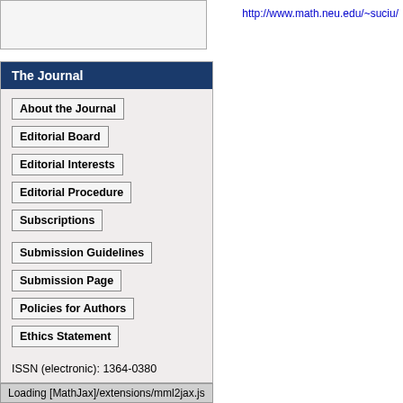[Figure (screenshot): Top-left box, empty gray area with border]
http://www.math.neu.edu/~suciu/
The Journal
About the Journal
Editorial Board
Editorial Interests
Editorial Procedure
Subscriptions
Submission Guidelines
Submission Page
Policies for Authors
Ethics Statement
ISSN (electronic): 1364-0380
ISSN (print): 1465-3060
Author index
Loading [MathJax]/extensions/mml2jax.js